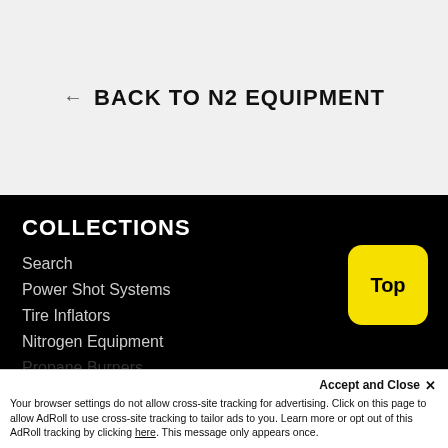← BACK TO N2 EQUIPMENT
COLLECTIONS
Search
Power Shot Systems
Tire Inflators
Nitrogen Equipment
Propane Burners
Top
Accept and Close ✕
Your browser settings do not allow cross-site tracking for advertising. Click on this page to allow AdRoll to use cross-site tracking to tailor ads to you. Learn more or opt out of this AdRoll tracking by clicking here. This message only appears once.